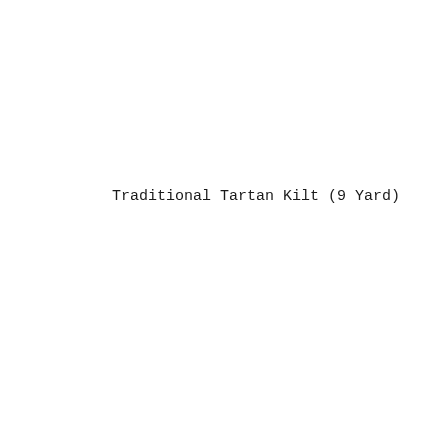Traditional Tartan Kilt (9 Yard)